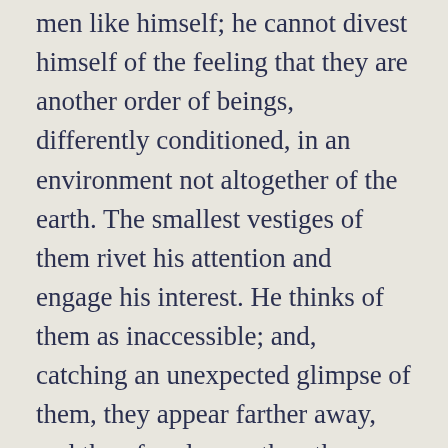men like himself; he cannot divest himself of the feeling that they are another order of beings, differently conditioned, in an environment not altogether of the earth. The smallest vestiges of them rivet his attention and engage his interest. He thinks of them as inaccessible; and, catching an unexpected glimpse of them, they appear farther away, and therefore larger, than they really are-- like objects in a fog. He is somewhat in awe of them.
From the edge of the wood leading up the acclivity are the tracks of horses and